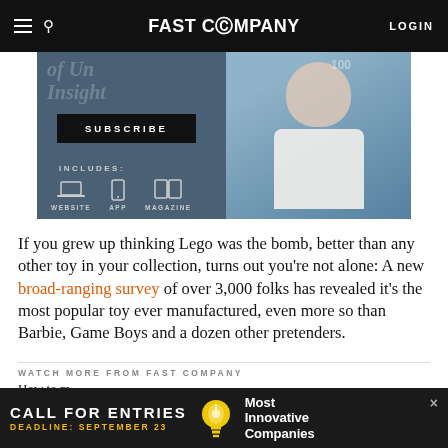FAST COMPANY — LOGIN
[Figure (screenshot): Fast Company subscription advertisement banner showing SUBSCRIBE button, INCLUDES: WEBSITE APP MAGAZINE with icons, and a person in a white turtleneck against a blue-grey background]
If you grew up thinking Lego was the bomb, better than any other toy in your collection, turns out you're not alone: A new broad-ranging survey of over 3,000 folks has revealed it's the most popular toy ever manufactured, even more so than Barbie, Game Boys and a dozen other pretenders.
WATCH MORE FROM FAST COMPANY
How to m
[Figure (screenshot): Call for Entries advertisement banner with deadline September 23, light bulb icon, and Most Innovative Companies text]